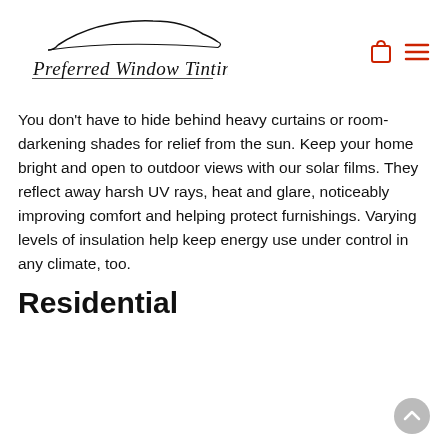[Figure (logo): Preferred Window Tinting logo with stylized car silhouette and script text]
You don't have to hide behind heavy curtains or room-darkening shades for relief from the sun. Keep your home bright and open to outdoor views with our solar films. They reflect away harsh UV rays, heat and glare, noticeably improving comfort and helping protect furnishings. Varying levels of insulation help keep energy use under control in any climate, too.
Residential